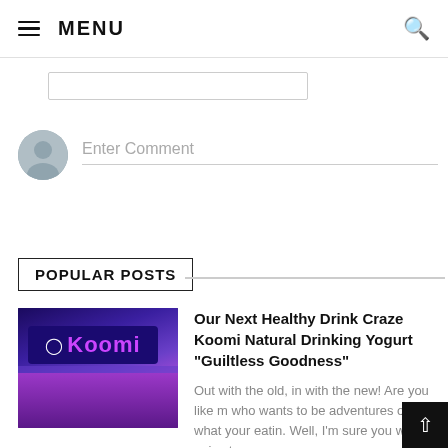☰ MENU
[Figure (screenshot): Partially visible text input bar at the top of the page]
[Figure (screenshot): User avatar circle with Enter Comment placeholder text and underline input field]
POPULAR POSTS
[Figure (photo): Koomi store front with purple neon Koomi sign and store interior visible]
Our Next Healthy Drink Craze Koomi Natural Drinking Yogurt "Guiltless Goodness"
Out with the old, in with the new!  Are you like me who wants to be adventures on what your eatin. Well, I'm sure you will enjoy t...